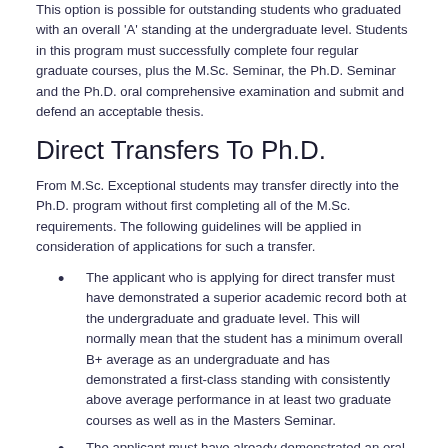This option is possible for outstanding students who graduated with an overall 'A' standing at the undergraduate level. Students in this program must successfully complete four regular graduate courses, plus the M.Sc. Seminar, the Ph.D. Seminar and the Ph.D. oral comprehensive examination and submit and defend an acceptable thesis.
Direct Transfers To Ph.D.
From M.Sc. Exceptional students may transfer directly into the Ph.D. program without first completing all of the M.Sc. requirements. The following guidelines will be applied in consideration of applications for such a transfer.
The applicant who is applying for direct transfer must have demonstrated a superior academic record both at the undergraduate and graduate level. This will normally mean that the student has a minimum overall B+ average as an undergraduate and has demonstrated a first-class standing with consistently above average performance in at least two graduate courses as well as in the Masters Seminar.
The applicant must have already demonstrated an oral